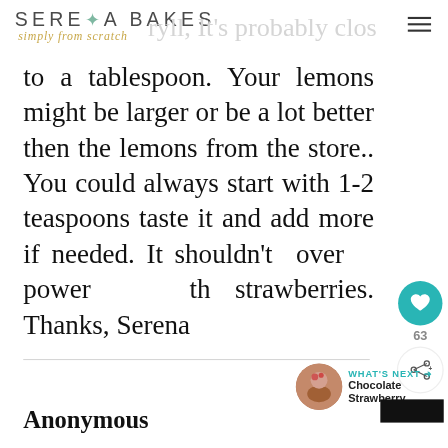SERENA BAKES simply from scratch
to a tablespoon. Your lemons might be larger or be a lot better then the lemons from the store.. You could always start with 1-2 teaspoons taste it and add more if needed. It shouldn't over power the strawberries. Thanks, Serena
Anonymous